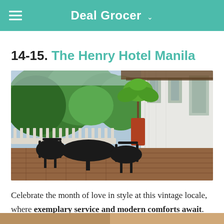Deal Grocer
14-15. The Henry Hotel Manila
[Figure (photo): Outdoor terrace/balcony of The Henry Hotel Manila with black wrought-iron furniture and table, lush green tropical plants in pots, wooden deck flooring with brick tiles, white colonial-style building facade with large glass doors/windows on the right.]
Celebrate the month of love in style at this vintage locale, where exemplary service and modern comforts await.
[Figure (photo): Partial view of another hotel image at the bottom of the page, cropped.]